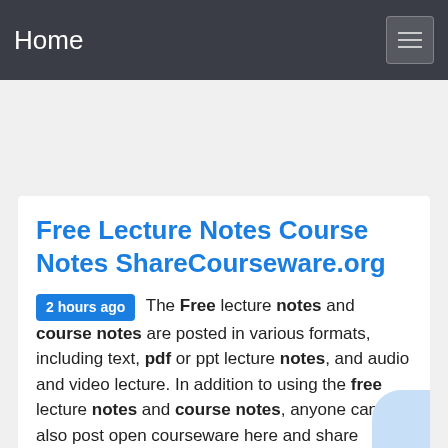Home
Free Lecture Notes Course Notes ShareCourseware.org
2 hours ago The Free lecture notes and course notes are posted in various formats, including text, pdf or ppt lecture notes, and audio and video lecture. In addition to using the free lecture notes and course notes, anyone can also post open courseware here and share